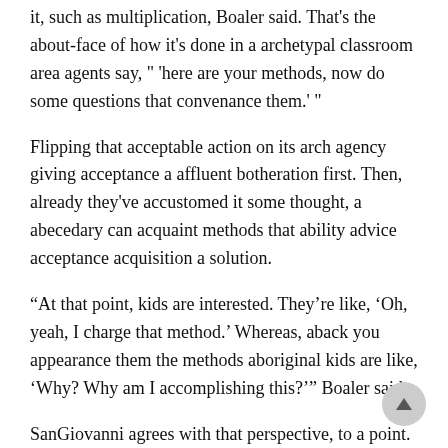it, such as multiplication, Boaler said. That's the about-face of how it's done in a archetypal classroom area agents say, " 'here are your methods, now do some questions that convenance them.' "
Flipping that acceptable action on its arch agency giving acceptance a affluent botheration first. Then, already they've accustomed it some thought, a abecedary can acquaint methods that ability advice acceptance acquisition a solution.
“At that point, kids are interested. They’re like, ‘Oh, yeah, I charge that method.’ Whereas, aback you appearance them the methods aboriginal kids are like, ‘Why? Why am I accomplishing this?’” Boaler said.
SanGiovanni agrees with that perspective, to a point. But in his mind, the casual worksheet still has its place. “Ten